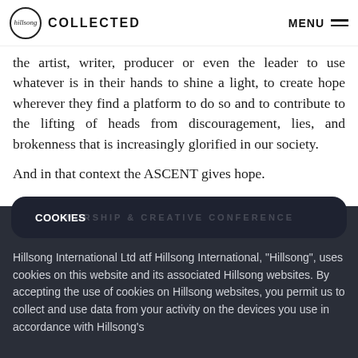Hillsong COLLECTED — MENU
the artist, writer, producer or even the leader to use whatever is in their hands to shine a light, to create hope wherever they find a platform to do so and to contribute to the lifting of heads from discouragement, lies, and brokenness that is increasingly glorified in our society.
And in that context the ASCENT gives hope.
WORSHIP & CREATIVE CONFERENCE
COOKIES
Hillsong International Ltd atf Hillsong International, "Hillsong", uses cookies on this website and its associated Hillsong websites. By accepting the use of cookies on Hillsong websites, you permit us to collect and use data from your activity on the devices you use in accordance with Hillsong's